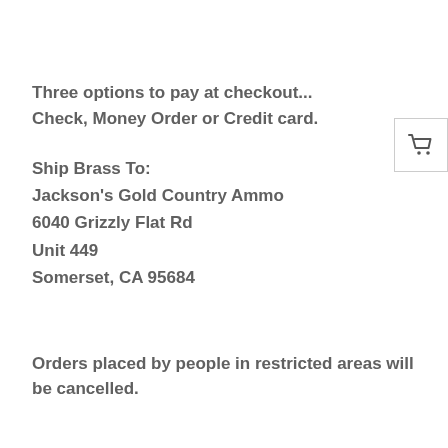Three options to pay at checkout...
Check, Money Order or Credit card.
Ship Brass To:
Jackson's Gold Country Ammo
6040 Grizzly Flat Rd
Unit 449
Somerset, CA 95684
Orders placed by people in restricted areas will be cancelled.